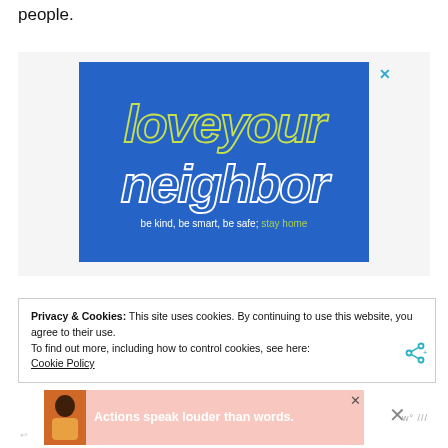people.
[Figure (illustration): Blue advertisement banner with stylized retro text reading 'love your neighbor' with tagline 'be kind, be smart, be safe; stay home'. 'love your' in yellow-green outlined letters, 'neighbor' in white outlined letters.]
Privacy & Cookies: This site uses cookies. By continuing to use this website, you agree to their use.
To find out more, including how to control cookies, see here:
Cookie Policy
[Figure (illustration): Bottom advertisement banner with pink/salmon background showing a person and text 'Actions speak louder than words.']